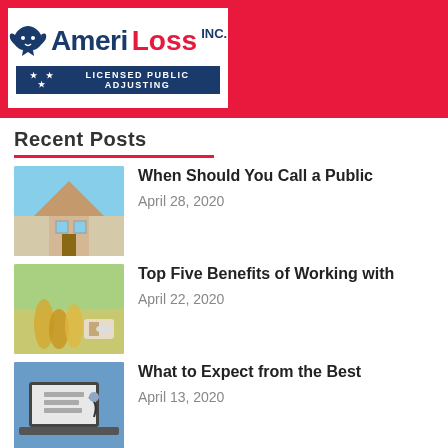AmeriLoss INC. - Licensed Public Adjusting
Recent Posts
When Should You Call a Public | April 28, 2020
Top Five Benefits of Working with | April 22, 2020
What to Expect from the Best | April 13, 2020